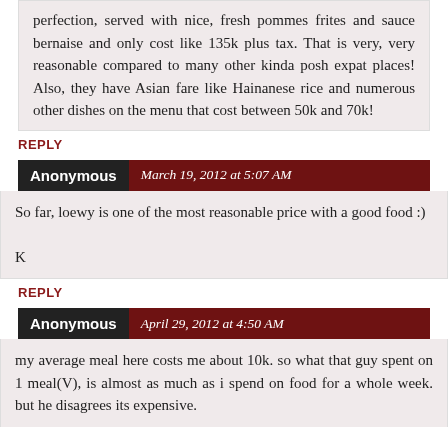perfection, served with nice, fresh pommes frites and sauce bernaise and only cost like 135k plus tax. That is very, very reasonable compared to many other kinda posh expat places! Also, they have Asian fare like Hainanese rice and numerous other dishes on the menu that cost between 50k and 70k!
REPLY
Anonymous  March 19, 2012 at 5:07 AM
So far, loewy is one of the most reasonable price with a good food :)

K
REPLY
Anonymous  April 29, 2012 at 4:50 AM
my average meal here costs me about 10k. so what that guy spent on 1 meal(V), is almost as much as i spend on food for a whole week. but he disagrees its expensive.